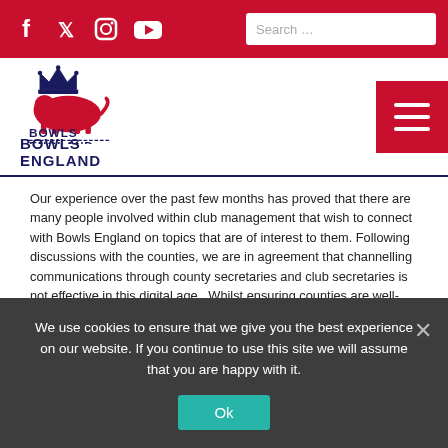Social icons (Facebook, Twitter, Instagram, YouTube) | Search bar
[Figure (logo): Bowls England logo with crown and lion crest in navy blue and red, text reading BOWLS ENGLAND]
Our experience over the past few months has proved that there are many people involved within club management that wish to connect with Bowls England on topics that are of interest to them. Following discussions with the counties, we are in agreement that channelling communications through county secretaries and club secretaries is not effective in this digital age.  Whilst ensuring counties are well-informed, as part of the affiliation process, we will be seeking contact details for those key club personnel in order that we can send direct communication to them. The final detail will be worked up over the coming months, but we anticipate that those roles will fall into a number of categories as shown below:
We use cookies to ensure that we give you the best experience on our website. If you continue to use this site we will assume that you are happy with it.